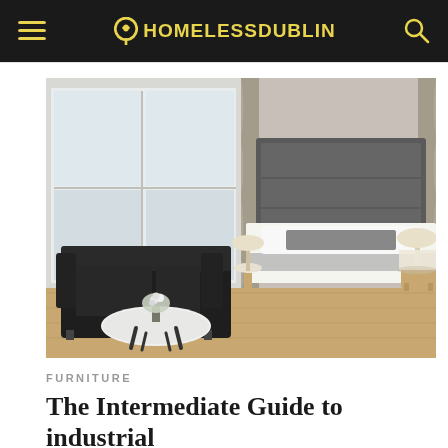HOMELESSDUBLIN
[Figure (photo): A modern hotel-style bedroom with a large bed with white linens and a dark headboard, two bedside tables with lamps, a black sofa and round coffee table with flowers in the foreground, and large floor-to-ceiling windows with curtains on the left.]
FURNITURE
The Intermediate Guide to industrial